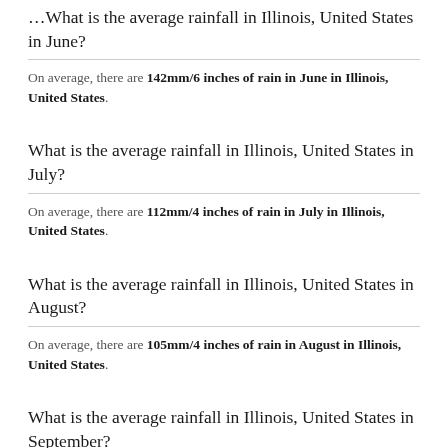What is the average rainfall in Illinois, United States in June?
On average, there are 142mm/6 inches of rain in June in Illinois, United States.
What is the average rainfall in Illinois, United States in July?
On average, there are 112mm/4 inches of rain in July in Illinois, United States.
What is the average rainfall in Illinois, United States in August?
On average, there are 105mm/4 inches of rain in August in Illinois, United States.
What is the average rainfall in Illinois, United States in September?